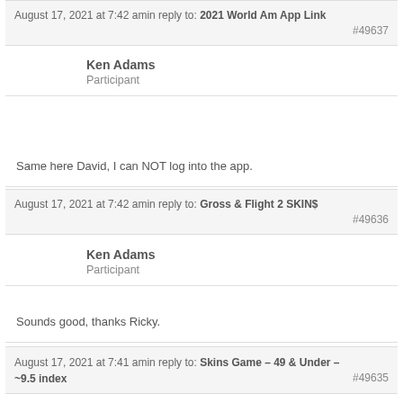August 17, 2021 at 7:42 amin reply to: 2021 World Am App Link #49637
Ken Adams
Participant
Same here David, I can NOT log into the app.
August 17, 2021 at 7:42 amin reply to: Gross & Flight 2 SKIN$ #49636
Ken Adams
Participant
Sounds good, thanks Ricky.
August 17, 2021 at 7:41 amin reply to: Skins Game – 49 & Under – ~9.5 index #49635